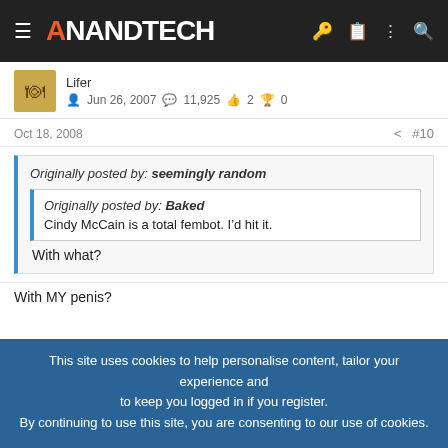AnandTech
Lifer
Jun 26, 2007  11,925  2  0
Oct 18, 2008  #10
Originally posted by: seemingly random
Originally posted by: Baked
Cindy McCain is a total fembot. I'd hit it.
With what?
With MY penis?
This site uses cookies to help personalise content, tailor your experience and to keep you logged in if you register.
By continuing to use this site, you are consenting to our use of cookies.